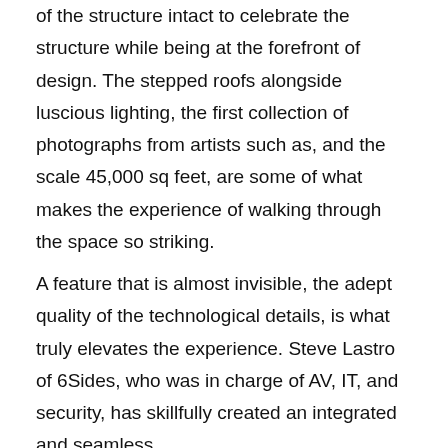of the structure intact to celebrate the structure while being at the forefront of design. The stepped roofs alongside luscious lighting, the first collection of photographs from artists such as, and the scale 45,000 sq feet, are some of what makes the experience of walking through the space so striking.
A feature that is almost invisible, the adept quality of the technological details, is what truly elevates the experience. Steve Lastro of 6Sides, who was in charge of AV, IT, and security, has skillfully created an integrated and seamless